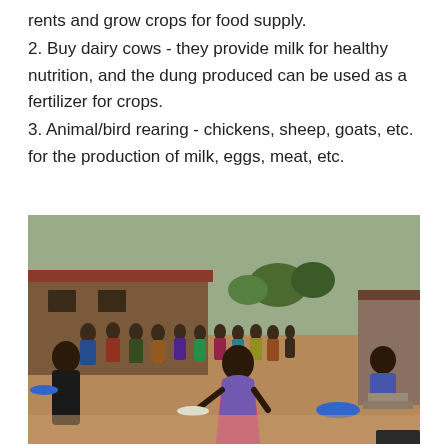rents and grow crops for food supply.
2. Buy dairy cows - they provide milk for healthy nutrition, and the dung produced can be used as a fertilizer for crops.
3. Animal/bird rearing - chickens, sheep, goats, etc. for the production of milk, eggs, meat, etc.
[Figure (photo): Outdoor scene showing a long line of children and adults standing in a courtyard outside a brick building. In the foreground, a young child in a colorful dress carries a plate of food. To the right, a person sits on steps near a brick wall. Blue plates/bowls are visible. The setting appears to be a food distribution event at a school or community center in Africa.]